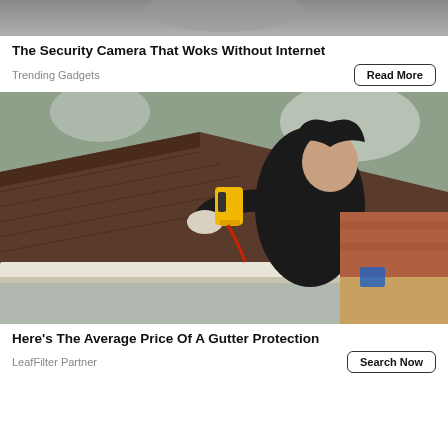[Figure (photo): Partial top image, cropped, showing a grey/silver object against dark background]
The Security Camera That Woks Without Internet
Trending Gadgets
[Figure (photo): Worker in black hoodie on a roof installing or working on gutters, holding a yellow power tool, suburban background with trees and brick house]
Here's The Average Price Of A Gutter Protection
LeafFilter Partner